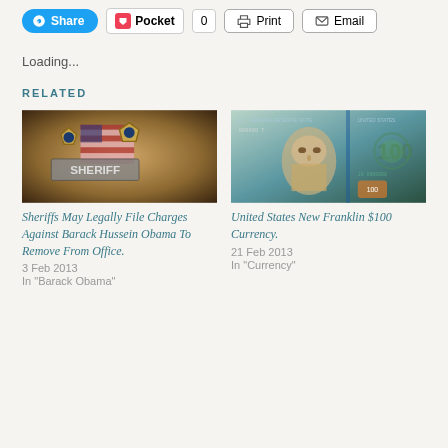[Figure (screenshot): Social sharing toolbar with Share (Skype), Pocket (0), Print, and Email buttons]
Loading...
RELATED
[Figure (photo): Sheriff and Major police badges with American flag background]
Sheriffs May Legally File Charges Against Barack Hussein Obama To Remove From Office.
3 Feb 2013
In "Barack Obama"
[Figure (photo): United States New $100 bill featuring Benjamin Franklin]
United States New Franklin $100 Currency.
21 Feb 2013
In "Currency"